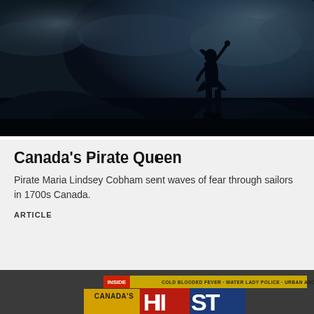[Figure (photo): Dark silhouette of a person (female figure) standing on rocks against a dramatic cloudy sky at dusk or dawn. The figure is shown in full silhouette holding something in one hand, standing tall on rocky terrain. The overall mood is dark and dramatic.]
Canada's Pirate Queen
Pirate Maria Lindsey Cobham sent waves of fear through sailors in 1700s Canada.
ARTICLE
[Figure (photo): Partial view of a Canada's History magazine cover showing the inside bar with red INSIDE tag, gold banner with text about contents, and large bold magazine title lettering in red and blue on gold background.]